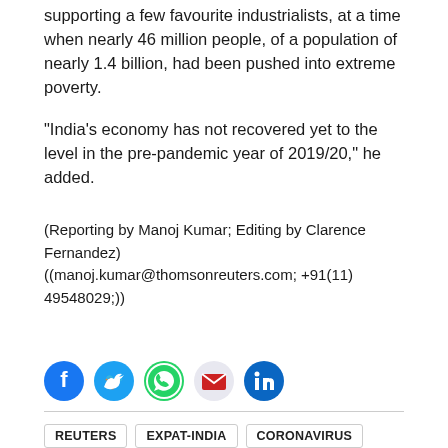supporting a few favourite industrialists, at a time when nearly 46 million people, of a population of nearly 1.4 billion, had been pushed into extreme poverty.
"India's economy has not recovered yet to the level in the pre-pandemic year of 2019/20," he added.
(Reporting by Manoj Kumar; Editing by Clarence Fernandez) ((manoj.kumar@thomsonreuters.com; +91(11) 49548029;))
[Figure (infographic): Social media share icons: Facebook (blue circle), Twitter (blue circle), WhatsApp (green circle), Email (red envelope), LinkedIn (blue circle)]
REUTERS
EXPAT-INDIA
CORONAVIRUS
ECONOMY
INDIA